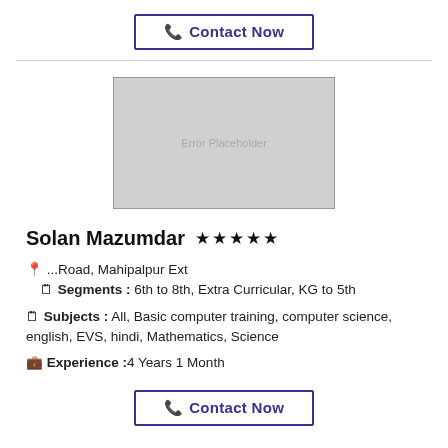[Figure (other): Contact Now button at top, styled with purple border and text, phone icon]
[Figure (photo): Image placeholder box with text 'Error Placeholder' in center]
Solan Mazumdar ★★★★★
📍 ...Road, Mahipalpur Ext   🗒 Segments : 6th to 8th, Extra Curricular, KG to 5th
🗒 Subjects : All, Basic computer training, computer science, english, EVS, hindi, Mathematics, Science
💼 Experience :4 Years 1 Month
[Figure (other): Contact Now button at bottom, styled with purple border and text, phone icon]